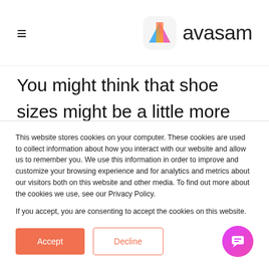avasam
You might think that shoe sizes might be a little more standard worldwide. There was a universal footwear sizing system developed in the 1970s called Mondopoint, which measures the feet in millimetres, but unfortunately, only a few
This website stores cookies on your computer. These cookies are used to collect information about how you interact with our website and allow us to remember you. We use this information in order to improve and customize your browsing experience and for analytics and metrics about our visitors both on this website and other media. To find out more about the cookies we use, see our Privacy Policy.

If you accept, you are consenting to accept the cookies on this website.